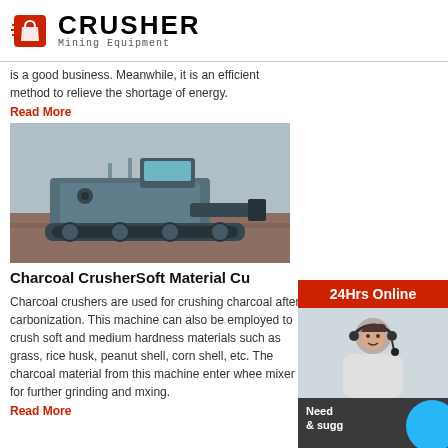CRUSHER Mining Equipment
is a good business. Meanwhile, it is an efficient method to relieve the shortage of energy.
Read More
[Figure (photo): Mining/road milling machine on dirt ground]
Charcoal CrusherSoft Material Cu
Charcoal crushers are used for crushing charcoal after carbonization. This machine can also be employed to crush soft and medium hardness materials such as grass, rice husk, peanut shell, corn shell, etc. The charcoal material from this machine enter wheel mixer for further grinding and mxing.
Read More
[Figure (infographic): 24Hrs Online sidebar with customer service representative, chat now button, enquiry section, and email limingjlmofen@sina.com]